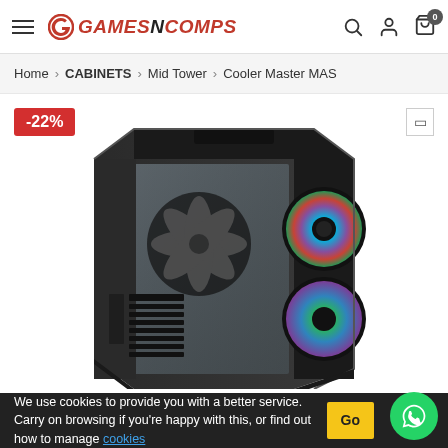GAMESNCOMPS — navigation header with hamburger menu, logo, search, account, and cart icons
Home > CABINETS > Mid Tower > Cooler Master MAS
[Figure (photo): Product photo of a Cooler Master mid-tower PC case with tempered glass side panel, RGB fans visible through mesh front panel, black finish. A -22% discount badge is shown in the top left corner.]
We use cookies to provide you with a better service. Carry on browsing if you're happy with this, or find out how to manage cookies